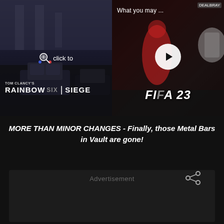[Figure (screenshot): Left thumbnail: Rainbow Six Siege game screenshot showing dark urban scene with cars and buildings, zoom/magnify icon overlay with 'click to' text, Rainbow Six Siege logo at bottom left]
[Figure (screenshot): Right thumbnail: FIFA 23 video with 'What you may ...' text at top, play button circle in center, FIFA 23 logo text at bottom, DealBray watermark top right]
MORE THAN MINOR CHANGES - Finally, those Metal Bars in Vault are gone!
Advertisement